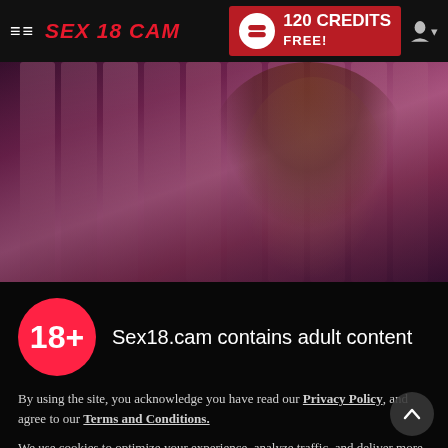SEX 18 CAM — 120 CREDITS FREE!
[Figure (photo): Hero image of a young woman with auburn hair partially obscured by pink/purple curtain-like fabric, background is dark pink and magenta tones]
Sex18.cam contains adult content
By using the site, you acknowledge you have read our Privacy Policy, and agree to our Terms and Conditions.
We use cookies to optimize your experience, analyze traffic, and deliver more personalized service. To learn more, please see our Privacy Policy.
I AGREE